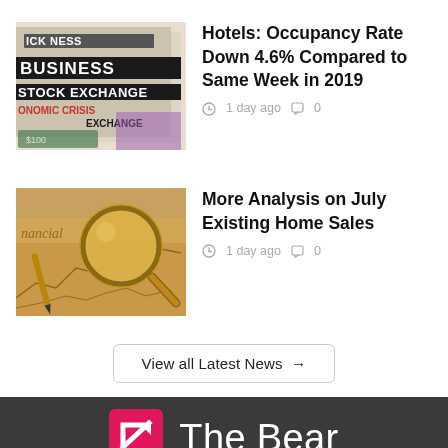[Figure (photo): Stack of newspapers with headlines: BUSINESS, STOCK EXCHANGE, ONOMIC CRISIS visible]
Hotels: Occupancy Rate Down 4.6% Compared to Same Week in 2019
1 day ago  0
[Figure (photo): Gold magnifying glass resting on financial charts/graphs document]
More Analysis on July Existing Home Sales
1 day ago  0
View all Latest News →
[Figure (logo): The Bear logo: pink/magenta arrow icon with white text 'The Bear']